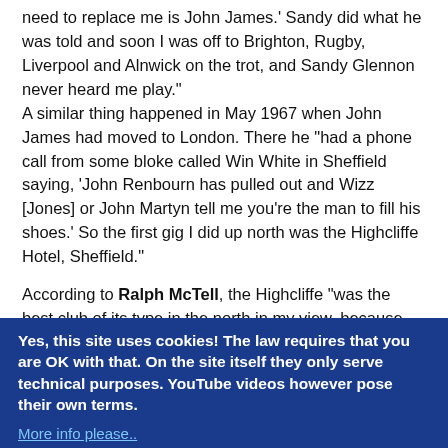need to replace me is John James.' Sandy did what he was told and soon I was off to Brighton, Rugby, Liverpool and Alnwick on the trot, and Sandy Glennon never heard me play."
A similar thing happened in May 1967 when John James had moved to London. There he "had a phone call from some bloke called Win White in Sheffield saying, 'John Renbourn has pulled out and Wizz [Jones] or John Martyn tell me you're the man to fill his shoes.' So the first gig I did up north was the Highcliffe Hotel, Sheffield."
According to Ralph McTell, the Highcliffe "was the best club of its type in the north in my view, because Win White, who probably wasn't part of the social revolution, was actually in it to make a few quid. [...] Win booked me, John Renbourn, John Martyn, Wizz Jones and a few of the others, and rotated us." The normal fee for the gig and journey would be eight pounds...
Yes, this site uses cookies! The law requires that you are OK with that. On the site itself they only serve technical purposes. YouTube videos however pose their own terms.
More info please..